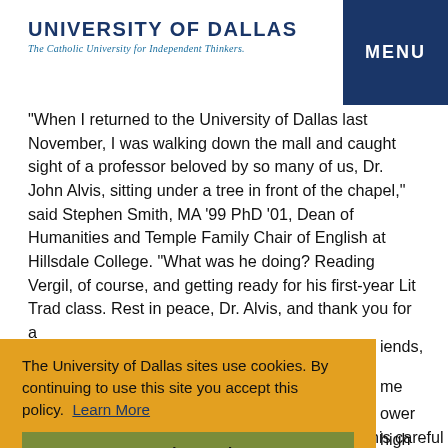UNIVERSITY OF DALLAS
The Catholic University for Independent Thinkers.
"When I returned to the University of Dallas last November, I was walking down the mall and caught sight of a professor beloved by so many of us, Dr. John Alvis, sitting under a tree in front of the chapel," said Stephen Smith, MA '99 PhD '01, Dean of Humanities and Temple Family Chair of English at Hillsdale College. "What was he doing? Reading Vergil, of course, and getting ready for his first-year Lit Trad class. Rest in peace, Dr. Alvis, and thank you for a [...]iends,
The University of Dallas sites use cookies. By continuing to use this site you accept this policy.  Learn More
I understand.
patient responses to my papers forced me into this careful